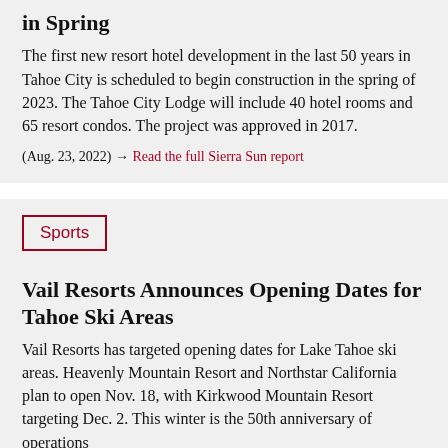in Spring
The first new resort hotel development in the last 50 years in Tahoe City is scheduled to begin construction in the spring of 2023. The Tahoe City Lodge will include 40 hotel rooms and 65 resort condos. The project was approved in 2017.
(Aug. 23, 2022) → Read the full Sierra Sun report
Sports
Vail Resorts Announces Opening Dates for Tahoe Ski Areas
Vail Resorts has targeted opening dates for Lake Tahoe ski areas. Heavenly Mountain Resort and Northstar California plan to open Nov. 18, with Kirkwood Mountain Resort targeting Dec. 2. This winter is the 50th anniversary of operations